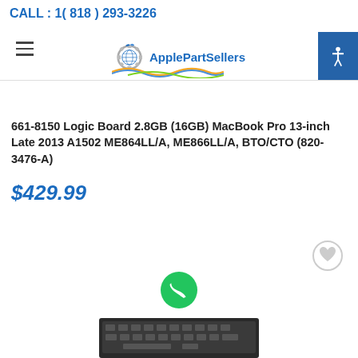CALL : 1( 818 ) 293-3226
[Figure (logo): ApplePartSellers logo with gear/globe icon and colorful wave, centered in header]
661-8150 Logic Board 2.8GB (16GB) MacBook Pro 13-inch Late 2013 A1502 ME864LL/A, ME866LL/A, BTO/CTO (820-3476-A)
$429.99
[Figure (illustration): Heart/wishlist circular button icon (gray outline circle with heart)]
[Figure (illustration): Green phone FAB (floating action button) with white phone handset icon]
[Figure (photo): Partial image of MacBook Pro logic board/keyboard at bottom of page]